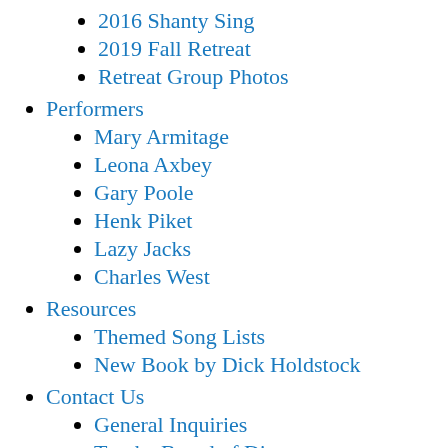2016 Shanty Sing
2019 Fall Retreat
Retreat Group Photos
Performers
Mary Armitage
Leona Axbey
Gary Poole
Henk Piket
Lazy Jacks
Charles West
Resources
Themed Song Lists
New Book by Dick Holdstock
Contact Us
General Inquiries
To: the Board of Directors